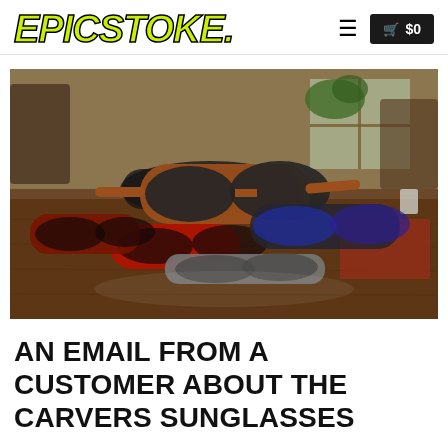EPICSTOKE. ≡ 🛒 $0
[Figure (photo): A pile of various sunglasses scattered on a wooden table, with chairs and a window visible in the background.]
AN EMAIL FROM A CUSTOMER ABOUT THE CARVERS SUNGLASSES